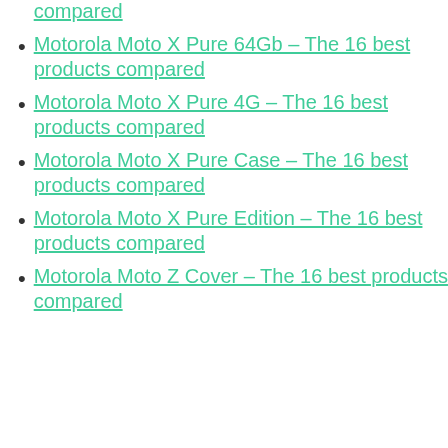Motorola Moto X Pure – The 16 best products compared
Motorola Moto X Pure 64Gb – The 16 best products compared
Motorola Moto X Pure 4G – The 16 best products compared
Motorola Moto X Pure Case – The 16 best products compared
Motorola Moto X Pure Edition – The 16 best products compared
Motorola Moto Z Cover – The 16 best products compared